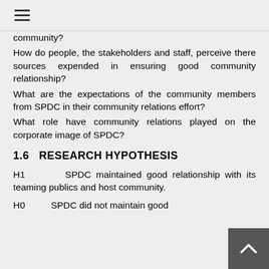≡
community?
How do people, the stakeholders and staff, perceive there sources expended in ensuring good community relationship?
What are the expectations of the community members from SPDC in their community relations effort?
What role have community relations played on the corporate image of SPDC?
1.6   RESEARCH HYPOTHESIS
H1        SPDC maintained good relationship with its teaming publics and host community.
H0          SPDC did not maintain good